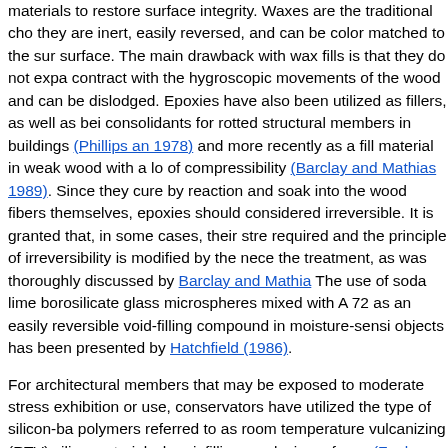materials to restore surface integrity. Waxes are the traditional cho they are inert, easily reversed, and can be color matched to the sur surface. The main drawback with wax fills is that they do not expa contract with the hygroscopic movements of the wood and can be dislodged. Epoxies have also been utilized as fillers, as well as bei consolidants for rotted structural members in buildings (Phillips an 1978) and more recently as a fill material in weak wood with a lo of compressibility (Barclay and Mathias 1989). Since they cure by reaction and soak into the wood fibers themselves, epoxies should considered irreversible. It is granted that, in some cases, their stre required and the principle of irreversibility is modified by the nece the treatment, as was thoroughly discussed by Barclay and Mathia The use of soda lime borosilicate glass microspheres mixed with A 72 as an easily reversible void-filling compound in moisture-sensi objects has been presented by Hatchfield (1986).
For architectural members that may be exposed to moderate stress exhibition or use, conservators have utilized the type of silicon-ba polymers referred to as room temperature vulcanizing (RTV) silico material when infilling cracks in surfaces (Fogle 1987; Barclay an 1987; Grattan and Barclay 1988).
The RTVs, which are available in proprietary formulations, are ch known as dimethyl siloxanes and cure by the emission of either m (alkoxy curing, noncorrosive) or acetic acid (acetoxy curing, corro